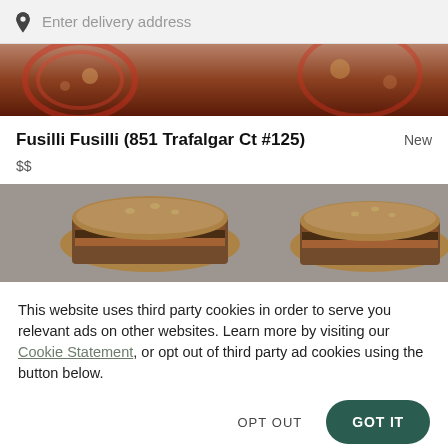Enter delivery address
[Figure (photo): Partial view of food/restaurant banner image at top, showing plates with food in red and brown tones]
Fusilli Fusilli (851 Trafalgar Ct #125)
New
$$
[Figure (photo): Photo of two burgers/sliders on a gray background, close-up view]
This website uses third party cookies in order to serve you relevant ads on other websites. Learn more by visiting our Cookie Statement, or opt out of third party ad cookies using the button below.
OPT OUT
GOT IT